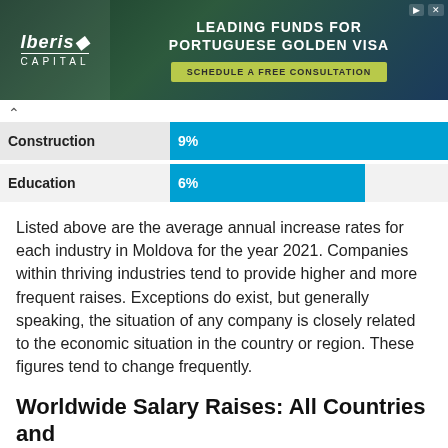[Figure (screenshot): Iberis Capital advertisement banner for Portuguese Golden Visa funds, with schedule a free consultation button]
[Figure (bar-chart): Average annual salary increase by industry in Moldova 2021]
Listed above are the average annual increase rates for each industry in Moldova for the year 2021. Companies within thriving industries tend to provide higher and more frequent raises. Exceptions do exist, but generally speaking, the situation of any company is closely related to the economic situation in the country or region. These figures tend to change frequently.
Worldwide Salary Raises: All Countries and